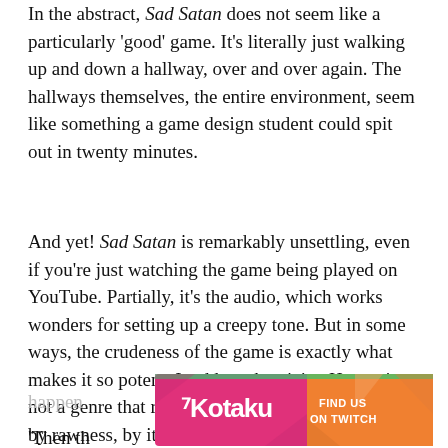In the abstract, Sad Satan does not seem like a particularly 'good' game. It's literally just walking up and down a hallway, over and over again. The hallways themselves, the entire environment, seem like something a game design student could spit out in twenty minutes.
And yet! Sad Satan is remarkably unsettling, even if you're just watching the game being played on YouTube. Partially, it's the audio, which works wonders for setting up a creepy tone. But in some ways, the crudeness of the game is exactly what makes it so potent. It adds authenticity. Horror is not a genre that revels in polish. It's often defined by rawness, by its sharp edges. This is why found footage horror movies are a thing. This is also why early survival horror games with shitty controls still managed to become classics. Horror is messy, in the same way real life is messy. It's ordinary, in the same way real life is ordinary. Which means it could
[Figure (other): Kotaku advertisement banner with pink/magenta background on left showing Kotaku logo and orange section on right reading FIND US ON TWITCH with decorative diagonal stripe elements]
happen
Then th...